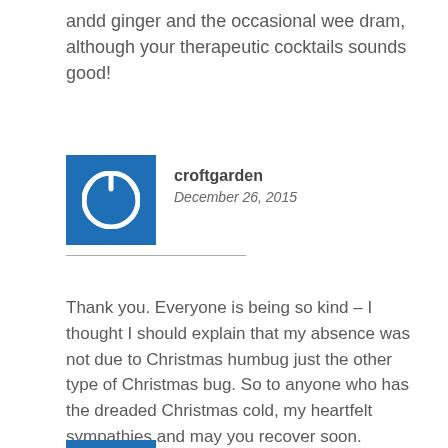andd ginger and the occasional wee dram, although your therapeutic cocktails sounds good!
croftgarden
December 26, 2015
Thank you. Everyone is being so kind – I thought I should explain that my absence was not due to Christmas humbug just the other type of Christmas bug. So to anyone who has the dreaded Christmas cold, my heartfelt sympathies and may you recover soon.